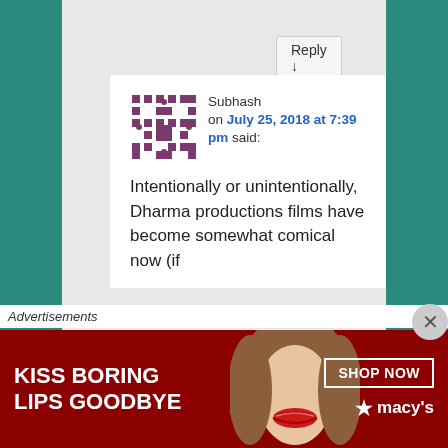Reply ↓
Subhash on July 25, 2018 at 7:39 pm said:
Intentionally or unintentionally, Dharma productions films have become somewhat comical now (if
Advertisements
[Figure (photo): Advertisement banner: KISS BORING LIPS GOODBYE with SHOP NOW button and macy's logo on red background]